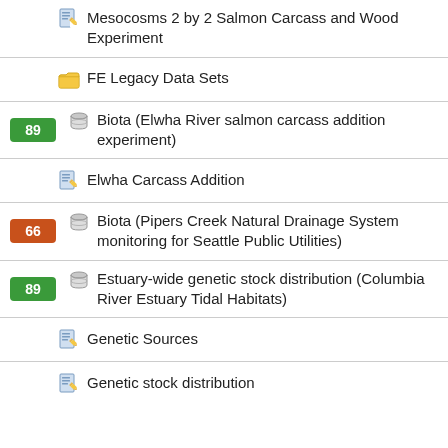Mesocosms 2 by 2 Salmon Carcass and Wood Experiment
FE Legacy Data Sets
89 Biota (Elwha River salmon carcass addition experiment)
Elwha Carcass Addition
66 Biota (Pipers Creek Natural Drainage System monitoring for Seattle Public Utilities)
89 Estuary-wide genetic stock distribution (Columbia River Estuary Tidal Habitats)
Genetic Sources
Genetic stock distribution